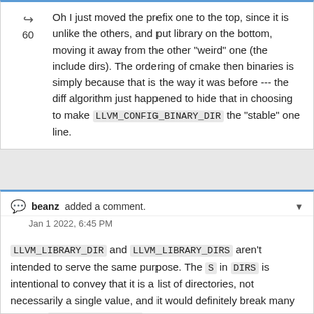Oh I just moved the prefix one to the top, since it is unlike the others, and put library on the bottom, moving it away from the other "weird" one (the include dirs). The ordering of cmake then binaries is simply because that is the way it was before --- the diff algorithm just happened to hide that in choosing to make LLVM_CONFIG_BINARY_DIR the "stable" one line.
beanz added a comment. Jan 1 2022, 6:45 PM
LLVM_LIBRARY_DIR and LLVM_LIBRARY_DIRS aren't intended to serve the same purpose. The S in DIRS is intentional to convey that it is a list of directories, not necessarily a single value, and it would definitely break many uses of LLVM_LIBRARY_DIR if it was a list. There are several (not correctly handled) build configurations where LLVM_SHLIB_OUTPUT_INTDIR and the shared library install directory are not the same as the static archive install